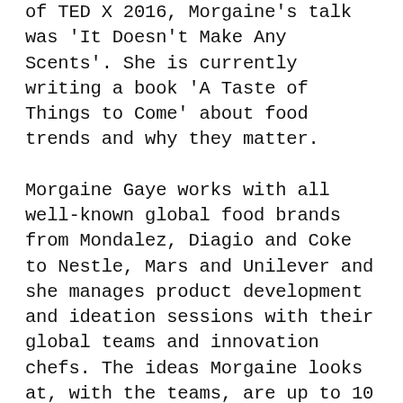of TED X 2016, Morgaine's talk was 'It Doesn't Make Any Scents'. She is currently writing a book 'A Taste of Things to Come' about food trends and why they matter.
Morgaine Gaye works with all well-known global food brands from Mondalez, Diagio and Coke to Nestle, Mars and Unilever and she manages product development and ideation sessions with their global teams and innovation chefs. The ideas Morgaine looks at, with the teams, are up to 10 years in advance and they involve mouthfeel perception, packaging and consumer drivers. Although Morgaine primarily work for food brands, she also consults to many technology brands who have an involvement in high end tech such as Panasonic, Siemens, Samsung, DeLonghi, Braun, BMW and Airbus. Their designers and engineers use Morgaine's trend